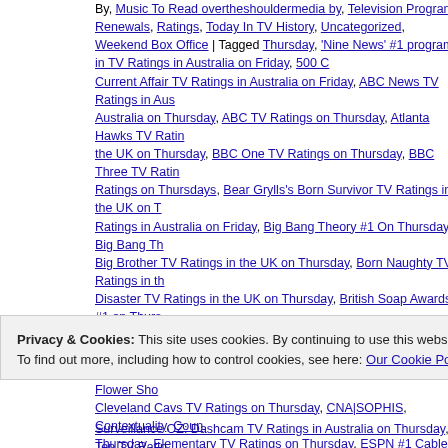By, Music To Read overtheshouldermedia by, Television Program Renewals, Ratings, Today In TV History, Uncategorized, Weekend Box Office | Tagged Thursday, 'Nine News' #1 program in TV Ratings in Australia on Friday, 500 Current Affair TV Ratings in Australia on Friday, ABC News TV Ratings in Australia on Thursday, ABC TV Ratings on Thursday, Atlanta Hawks TV Ratings in the UK on Thursday, BBC One TV Ratings on Thursday, BBC Three TV Ratings on Thursdays, Bear Grylls's Born Survivor TV Ratings in the UK on Ratings in Australia on Friday, Big Bang Theory #1 On Thursday, Big Bang Big Brother TV Ratings in the UK on Thursday, Born Naughty TV Ratings in the Disaster TV Ratings in the UK on Thursday, British Soap Awards #1 on Thursday TV Ratings on Thursday, Celebrity Juice TV Ratings in the UK on Thursday, Thursday, Channel 5 TV Ratings in the UK on Thursday, Chelsea Flower Cleveland Cavs TV Ratings on Thursday, CNA|SOPHIS, Contextuality, Thursday, Elementary TV Ratings on Thursday, ESPN #1 Cable on Thursday in the UK on Thursday, Eurovision Semi-Finals TV Ratings in Australia on Friday Class Call Girls TV Ratings in the UK on Thursday, Hot Seats TV Ratings in the UK, ITV TV Ratings on Thursday, ITV2 TV Ratings in the UK on Thursday Kimmel Live TV Ratings on Thursday, Lance Hanish, MasterChef Australia #
Privacy & Cookies: This site uses cookies. By continuing to use this website, you agree to their use. To find out more, including how to control cookies, see here: Our Cookie Policy
Close and accept
Surveillance OZ: Dashcam TV Ratings in Australia on Thursday, Ten TV Ratings